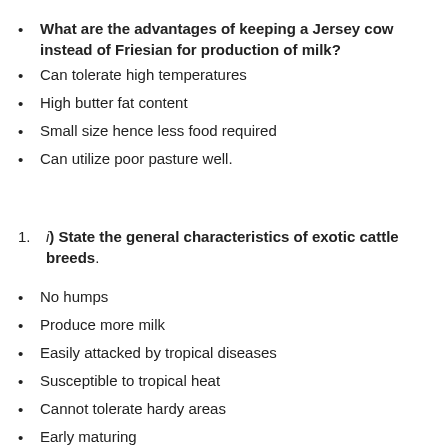What are the advantages of keeping a Jersey cow instead of Friesian for production of milk?
Can tolerate high temperatures
High butter fat content
Small size hence less food required
Can utilize poor pasture well.
i) State the general characteristics of exotic cattle breeds.
No humps
Produce more milk
Easily attacked by tropical diseases
Susceptible to tropical heat
Cannot tolerate hardy areas
Early maturing